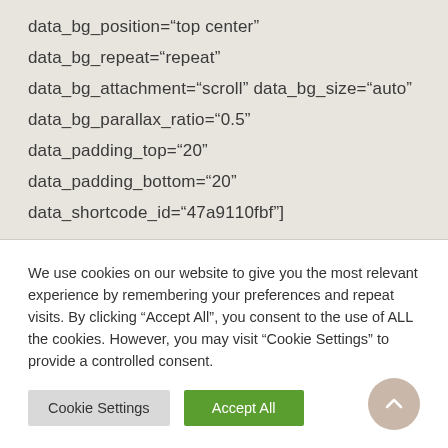data_bg_position="top center"
data_bg_repeat="repeat"
data_bg_attachment="scroll" data_bg_size="auto"
data_bg_parallax_ratio="0.5"
data_padding_top="20"
data_padding_bottom="20"
data_shortcode_id="47a9110fbf"]
We use cookies on our website to give you the most relevant experience by remembering your preferences and repeat visits. By clicking “Accept All”, you consent to the use of ALL the cookies. However, you may visit “Cookie Settings” to provide a controlled consent.
Cookie Settings | Accept All